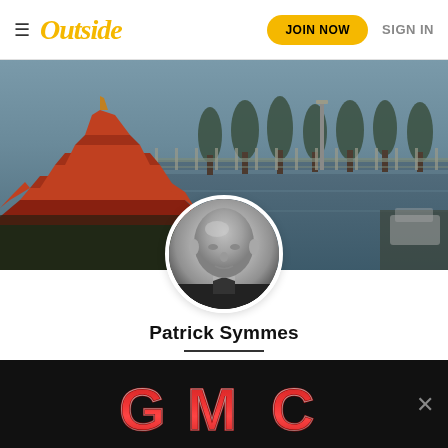Outside — JOIN NOW  SIGN IN
[Figure (photo): Aerial view of flooded street with Thai temple rooftops in foreground, trees and grey water in background]
[Figure (photo): Black and white circular portrait photo of Patrick Symmes, bald man in dark shirt]
Patrick Symmes
Jul 28, 2008
[Figure (logo): GMC logo advertisement banner in red and silver on black background]